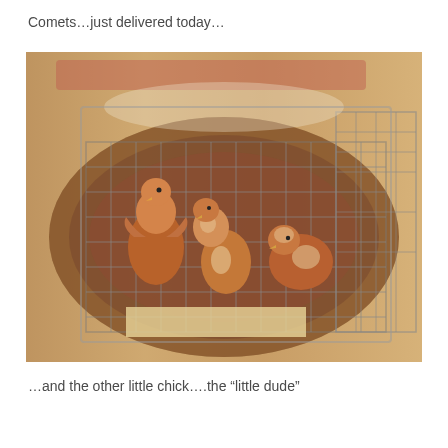Comets…just delivered today…
[Figure (photo): Photograph of several young chicks (Golden Comet chickens) inside a wire mesh cage/crate, placed on a colorful rug on a hardwood floor. The chicks are brown and white feathered, appearing recently delivered.]
…and the other little chick….the “little dude”